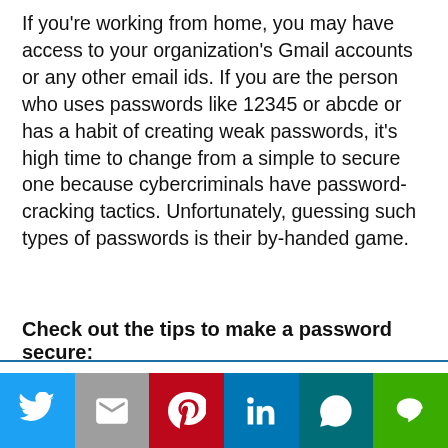If you're working from home, you may have access to your organization's Gmail accounts or any other email ids. If you are the person who uses passwords like 12345 or abcde or has a habit of creating weak passwords, it's high time to change from a simple to secure one because cybercriminals have password-cracking tactics. Unfortunately, guessing such types of passwords is their by-handed game.
Check out the tips to make a password secure:
This website uses cookies.
[Figure (other): Social sharing bar with icons for Twitter, Gmail, Pinterest, LinkedIn, WhatsApp, and LINE]